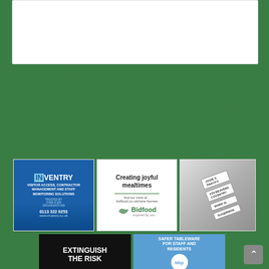[Figure (screenshot): White box at top of page, partial content]
← Courtney-Thorne Appoints First Marketing Manager
Dedicated End Of Life Carers Appointed In Walsall →
[Figure (photo): InVentry ad - Visitor Access, Contractor Management and Staff Monitoring Solutions. Trusted by over 8,000 organisations. 0113 322 9253. www.inventry.co.uk]
[Figure (photo): Bidfood ad - Creating joyful mealtimes. find out more at... bidfood.co.uk/care-homes. Bidfood inspired by you.]
[Figure (photo): Name tags/labels photo]
[Figure (photo): Extinguish The Risk ad - black background with white bold text]
[Figure (photo): BBP - Safer Tableware For Staff And Residents ad]